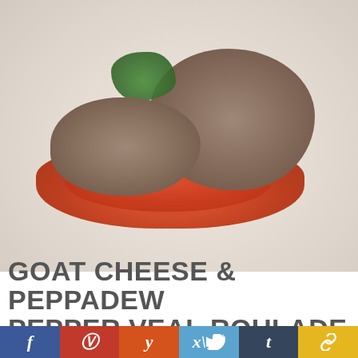[Figure (photo): Food photo: Goat cheese and peppadew pepper veal roulade served on a white plate with chunky tomato sauce and fresh herb garnish]
GOAT CHEESE & PEPPADEW PEPPER VEAL ROULADE
[Figure (infographic): Social media sharing bar with six buttons: Facebook (f), Pinterest (P), Yummly (y), Twitter (bird), Tumblr (t), and a chain-link/share icon, each with distinct brand colors]